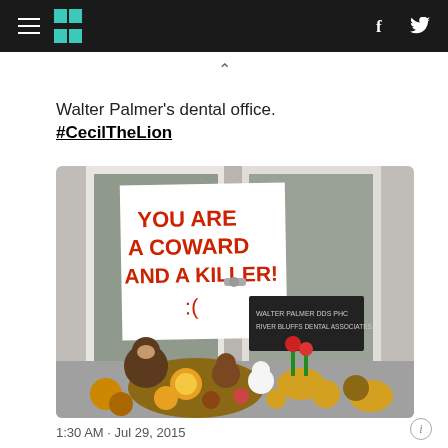HuffPost — navigation header with hamburger menu, logo, Facebook and Twitter icons
^
Walter Palmer's dental office. #CecilTheLion
[Figure (photo): Photo of Walter Palmer's dental office door with a handwritten sign reading 'YOU ARE A COWARD AND A KILLER!' with a sad face drawn on it. The entrance has stuffed animals (plush lion, monkey, bear, leopard, and other animals) piled up as a memorial at the base of the door.]
1:30 AM · Jul 29, 2015